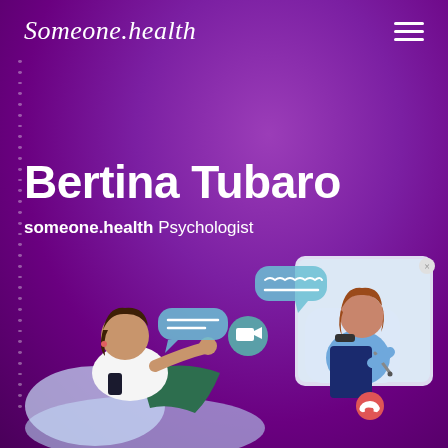Someone.health
Bertina Tubaro
someone.health Psychologist
[Figure (illustration): Illustration of a telehealth session: a patient (woman with dark hair, white top, green pants) reclines on a blue cushioned chair on the left, holding a phone and talking, with speech bubbles. On the right, a psychologist (woman with auburn hair, blue top) sits in a white chair holding a clipboard/notebook and pen, visible through a video call screen. Between them are floating icons: a teal camera icon, a red phone icon, and speech bubble indicators. The background is purple.]